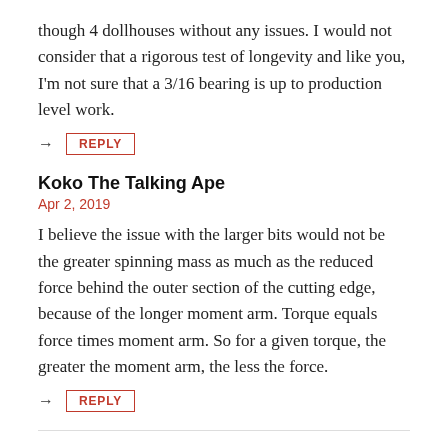though 4 dollhouses without any issues. I would not consider that a rigorous test of longevity and like you, I'm not sure that a 3/16 bearing is up to production level work.
→ REPLY
Koko The Talking Ape
Apr 2, 2019
I believe the issue with the larger bits would not be the greater spinning mass as much as the reduced force behind the outer section of the cutting edge, because of the longer moment arm. Torque equals force times moment arm. So for a given torque, the greater the moment arm, the less the force.
→ REPLY
fred